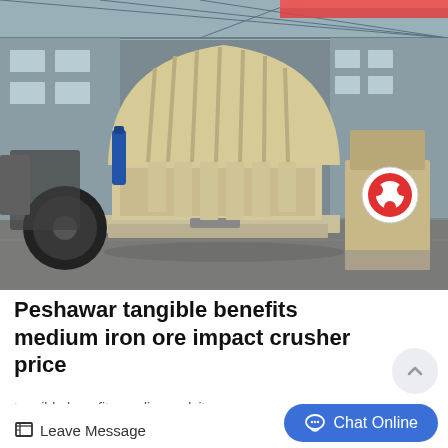[Figure (photo): Industrial impact crusher machine photographed in a factory warehouse. Large cream/beige colored heavy machinery with ribbed rotor housing in center, visible blow bars, and heavy base frame. Other machinery visible in background. Factory floor with concrete ground and steel roof structure visible.]
Peshawar tangible benefits medium iron ore impact crusher price
tangible benefits medium calcit...